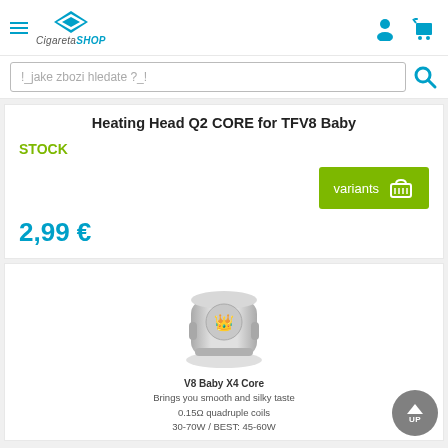CigaretaSHOP - navigation header with logo, hamburger menu, user and cart icons
!_jake zbozi hledate ?_!
Heating Head Q2 CORE for TFV8 Baby
STOCK
[Figure (screenshot): Green variants button with shopping basket icon]
2,99 €
[Figure (photo): Product photo of V8 Baby X4 Core coil head, silver metallic vape coil]
V8 Baby X4 Core
Brings you smooth and silky taste
0.15Ω quadruple coils
30-70W / BEST: 45-60W